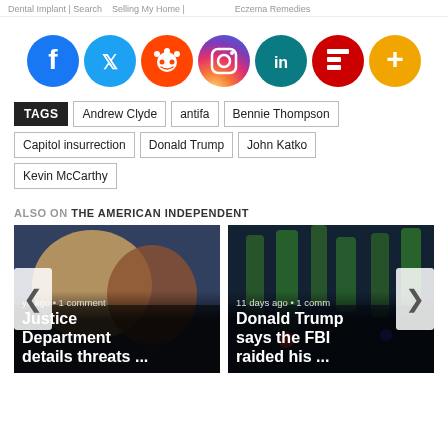Dental Implant | Search   Selling My Home |   Eczema Remedies
[Figure (infographic): Row of social media share icons: Facebook (dark blue), Twitter (light blue), Reddit (orange), Instagram (gradient pink/purple), LinkedIn (teal/dark), Flipboard (red), More/Plus (orange)]
TAGS: Andrew Clyde | antifa | Bennie Thompson | Capitol insurrection | Donald Trump | John Katko | Kevin McCarthy
ALSO ON THE AMERICAN INDEPENDENT
[Figure (photo): Article card: photo of people at a hearing, overlaid with text 'ys ago • 1 comment' and headline 'Justice Department details threats ...']
[Figure (photo): Article card: photo of palm trees at night with police lights, overlaid with text '11 days ago • 1 comm' and headline 'Donald Trump says the FBI raided his ...']